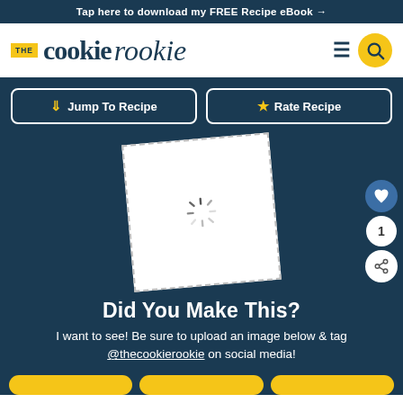Tap here to download my FREE Recipe eBook →
[Figure (logo): The Cookie Rookie logo with THE in yellow box and cookie in serif, rookie in script]
Jump To Recipe
Rate Recipe
[Figure (photo): Loading spinner on white tilted photo placeholder card]
Did You Make This?
I want to see! Be sure to upload an image below & tag @thecookierookie on social media!